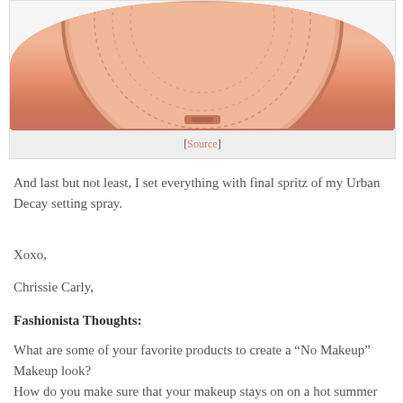[Figure (photo): Partial view of a round pink/rose-gold makeup compact product, visible from the bottom portion, with a latch closure visible.]
[Source]
And last but not least, I set everything with final spritz of my Urban Decay setting spray.
Xoxo,
Chrissie Carly,
Fashionista Thoughts:
What are some of your favorite products to create a “No Makeup” Makeup look?
How do you make sure that your makeup stays on on a hot summer day?